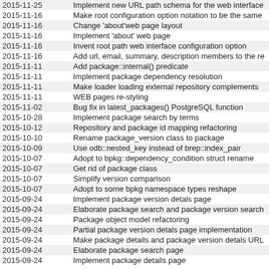| Date | Description |
| --- | --- |
| 2015-11-25 | Implement new URL path schema for the web interface |
| 2015-11-16 | Make root configuration option notation to be the same |
| 2015-11-16 | Change 'about'web page layout |
| 2015-11-16 | Implement 'about' web page |
| 2015-11-16 | Invent root path web interface configuration option |
| 2015-11-16 | Add url, email, summary, description members to the re |
| 2015-11-11 | Add package::internal() predicate |
| 2015-11-11 | Implement package dependency resolution |
| 2015-11-11 | Make loader loading external repository complements |
| 2015-11-11 | WEB pages re-styling |
| 2015-11-02 | Bug fix in latest_packages() PostgreSQL function |
| 2015-10-28 | Implement package search by terms |
| 2015-10-12 | Repository and package id mapping refactoring |
| 2015-10-10 | Rename package_version class to package |
| 2015-10-09 | Use odb::nested_key instead of brep::index_pair |
| 2015-10-07 | Adopt to bpkg::dependency_condition struct rename |
| 2015-10-07 | Get rid of package class |
| 2015-10-07 | Simplify version comparison |
| 2015-10-07 | Adopt to some bpkg namespace types reshape |
| 2015-09-24 | Implement package version detals page |
| 2015-09-24 | Elaborate package search and package version search |
| 2015-09-24 | Package object model refactoring |
| 2015-09-24 | Partial package version detals page implementation |
| 2015-09-24 | Make package details and package version detals URL |
| 2015-09-24 | Elaborate package search page |
| 2015-09-24 | Implement package details page |